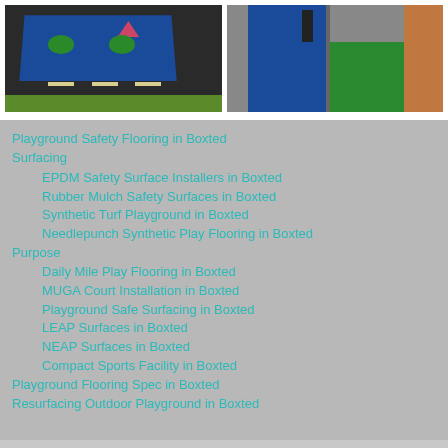[Figure (photo): Two photos side by side: left shows a blue and black rubber playground road surface with yellow markings on grass; right shows a blue rubber surface installed indoors/covered area with green surface and brick wall visible.]
Playground Safety Flooring in Boxted Surfacing
EPDM Safety Surface Installers in Boxted
Rubber Mulch Safety Surfaces in Boxted
Synthetic Turf Playground in Boxted
Needlepunch Synthetic Play Flooring in Boxted
Purpose
Daily Mile Play Flooring in Boxted
MUGA Court Installation in Boxted
Playground Safe Surfacing in Boxted
LEAP Surfaces in Boxted
NEAP Surfaces in Boxted
Compact Sports Facility in Boxted
Playground Flooring Spec in Boxted
Resurfacing Outdoor Playground in Boxted